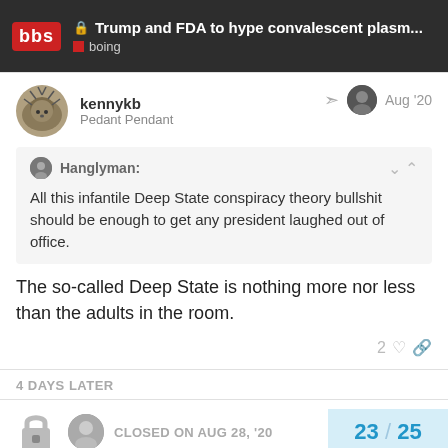Trump and FDA to hype convalescent plasm... | boing
kennykb
Pedant Pendant
Aug '20
Hanglyman:
All this infantile Deep State conspiracy theory bullshit should be enough to get any president laughed out of office.
The so-called Deep State is nothing more nor less than the adults in the room.
2
4 DAYS LATER
CLOSED ON AUG 28, '20
23 / 25